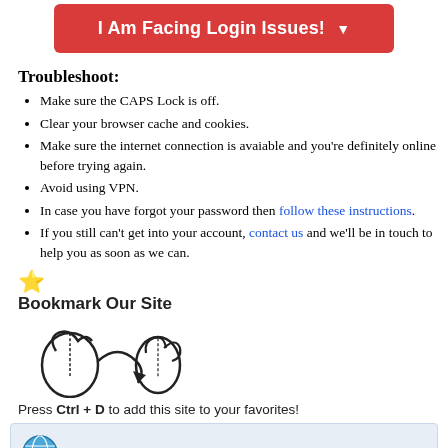[Figure (other): Red button labeled 'I Am Facing Login Issues!' with a dropdown arrow]
Troubleshoot:
Make sure the CAPS Lock is off.
Clear your browser cache and cookies.
Make sure the internet connection is avaiable and you're definitely online before trying again.
Avoid using VPN.
In case you have forgot your password then follow these instructions.
If you still can't get into your account, contact us and we'll be in touch to help you as soon as we can.
⭐ Bookmark Our Site
[Figure (illustration): Keyboard shortcut illustration showing Ctrl+D keys with a hand gesture]
Press Ctrl + D to add this site to your favorites!
Co-Authored By: